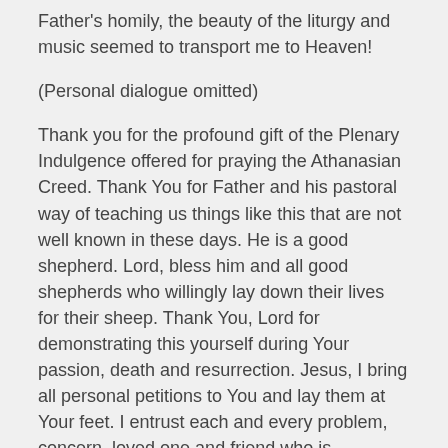Father's homily, the beauty of the liturgy and music seemed to transport me to Heaven!
(Personal dialogue omitted)
Thank you for the profound gift of the Plenary Indulgence offered for praying the Athanasian Creed. Thank You for Father and his pastoral way of teaching us things like this that are not well known in these days. He is a good shepherd. Lord, bless him and all good shepherds who willingly lay down their lives for their sheep. Thank You, Lord for demonstrating this yourself during Your passion, death and resurrection. Jesus, I bring all personal petitions to You and lay them at Your feet. I entrust each and every problem, concern, loved one and friend who is struggling and suffering. I pray